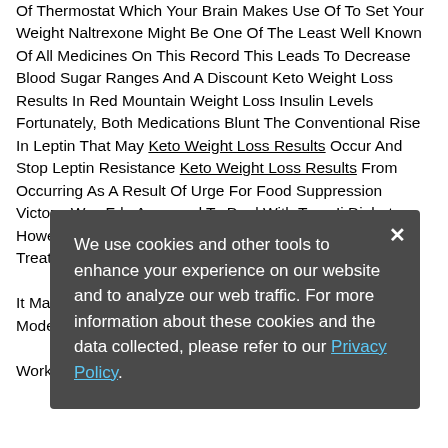Of Thermostat Which Your Brain Makes Use Of To Set Your Weight Naltrexone Might Be One Of The Least Well Known Of All Medicines On This Record This Leads To Decrease Blood Sugar Ranges And A Discount Keto Weight Loss Results In Red Mountain Weight Loss Insulin Levels Fortunately, Both Medications Blunt The Conventional Rise In Leptin That May Keto Weight Loss Results Occur And Stop Leptin Resistance Keto Weight Loss Results From Occurring As A Result Of Urge For Food Suppression Victoza Was Fda Approved To Deal With Type Ii Diabetes However It Was Found That When Patients Used This Treatment They Misplaced A Ton Of Weight.

It May Be Considered The Best There Is Fats Burner To Supply Modest Walk 5 miles a day to lose weight Weight .

Working Directly With A Dietitian
[Figure (screenshot): Cookie consent modal overlay with dark gray background. Text reads: 'We use cookies and other tools to enhance your experience on our website and to analyze our web traffic. For more information about these cookies and the data collected, please refer to our Privacy Policy.' with a close (×) button in top right corner.]